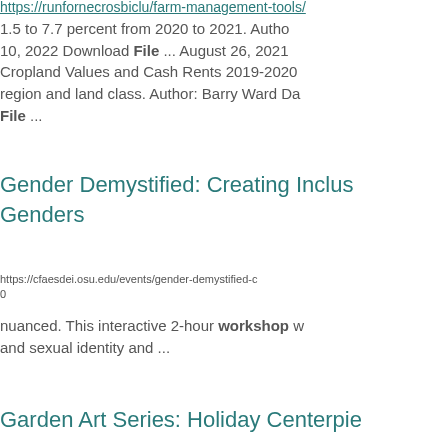https://runfornecrosbiclu/farm-management-tools/... 1.5 to 7.7 percent from 2020 to 2021. Autho... 10, 2022 Download File ... August 26, 2021 Cropland Values and Cash Rents 2019-2020 region and land class. Author: Barry Ward Da... File ...
Gender Demystified: Creating Inclusive Genders
https://cfaesdei.osu.edu/events/gender-demystified-0
nuanced. This interactive 2-hour workshop w... and sexual identity and ...
Garden Art Series: Holiday Centerpie...